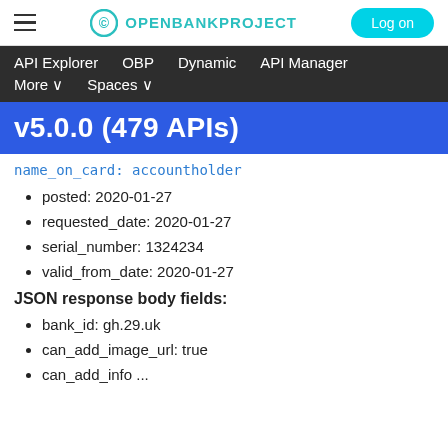OPENBANKPROJECT | Log on
API Explorer   OBP   Dynamic   API Manager   More ∨   Spaces ∨
v5.0.0 (479 APIs)
name_on_card: accountholder
posted: 2020-01-27
requested_date: 2020-01-27
serial_number: 1324234
valid_from_date: 2020-01-27
JSON response body fields:
bank_id: gh.29.uk
can_add_image_url: true
can_add_info ...